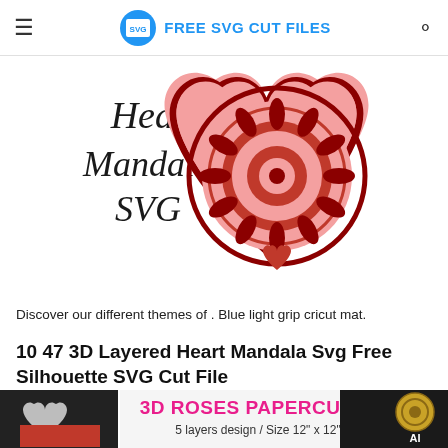FREE SVG CUT FILES
[Figure (illustration): Heart Mandala SVG decorative illustration showing a heart shape filled with intricate mandala pattern in red and pink colors, with cursive text 'Heart Mandala SVG' on the left side]
Discover our different themes of . Blue light grip cricut mat.
10 47 3D Layered Heart Mandala Svg Free Silhouette SVG Cut File
[Figure (illustration): 3D Roses Papercut -3 product banner showing 5 layers design, Size 12" x 12", with heart shapes and rose designs on black/red/white backgrounds, and a mandala circle in the corner with AI label]